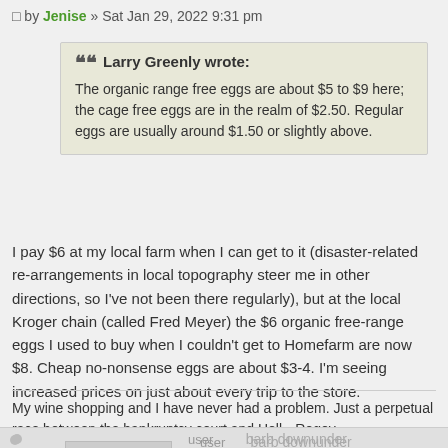by Jenise » Sat Jan 29, 2022 9:31 pm
Larry Greenly wrote:
The organic range free eggs are about $5 to $9 here; the cage free eggs are in the realm of $2.50. Regular eggs are usually around $1.50 or slightly above.
I pay $6 at my local farm when I can get to it (disaster-related re-arrangements in local topography steer me in other directions, so I've not been there regularly), but at the local Kroger chain (called Fred Meyer) the $6 organic free-range eggs I used to buy when I couldn't get to Homefarm are now $8. Cheap no-nonsense eggs are about $3-4. I'm seeing increased prices on just about every trip to the store.
My wine shopping and I have never had a problem. Just a perpetual race between the bankruptcy court and Hell.--Rogov
user
rank
barb downunder
wine guru